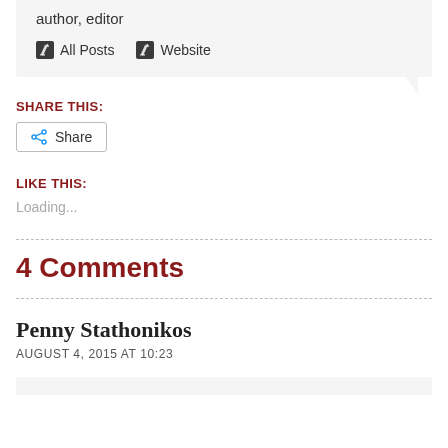author, editor
All Posts   Website
SHARE THIS:
Share
LIKE THIS:
Loading...
4 Comments
Penny Stathonikos
AUGUST 4, 2015 AT 10:23